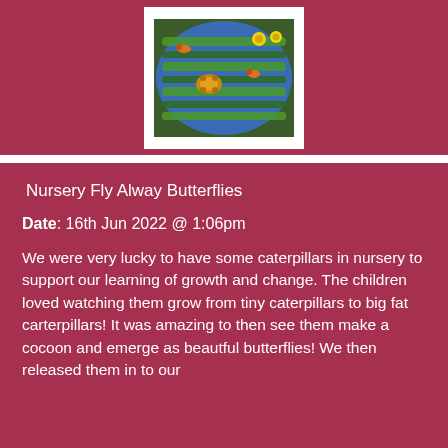[Figure (photo): A blue plate or tray filled with green grass-like material and small plastic animal figurines including turtles and other creatures, viewed from above.]
Nursery Fly Alway Butterflies
Date: 16th Jun 2022 @ 1:06pm
We were very lucky to have some caterpillars in nursery to support our learning of growth and change. The children loved watching them grow from tiny caterpillars to big fat carterpillars! It was amazing to then see them make a cocoon and emerge as beautful butterflies! We then released them in to our